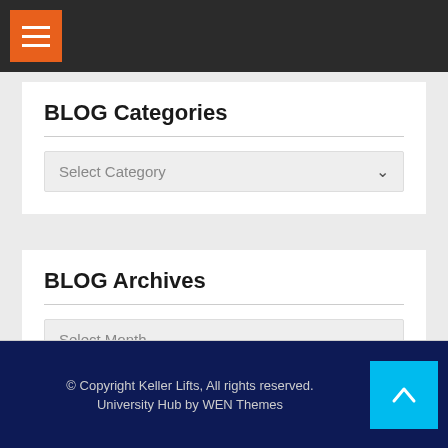Navigation menu button (hamburger)
BLOG Categories
Select Category
BLOG Archives
Select Month
© Copyright Keller Lifts, All rights reserved. University Hub by WEN Themes